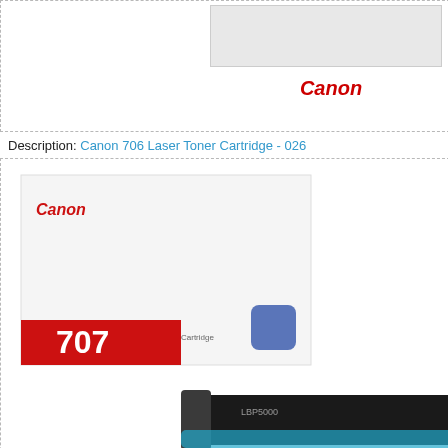[Figure (photo): Canon brand label (red italic text) below a toner cartridge product image - top cropped product]
Type: This is
Add T (button, cropped)
Description: Canon 706 Laser Toner Cartridge - 026
[Figure (photo): Canon 707 Cyan laser toner cartridge box and cartridge unit image]
Canon
£ 60.9
Itemcode:
Yield/Volu
Avalibility
Type: Thi
Add (button, cropped)
Description: Canon 707C Cyan Laser Toner Cartridg
[Figure (photo): Canon 707 yellow laser toner cartridge box and cartridge unit image]
Canon
£ 64.2
Itemcode:
Yield/Volu
Avalibility
Type: Thi